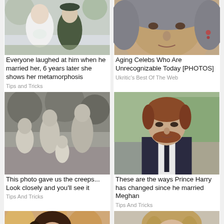[Figure (photo): Wedding photo of couple, man in military uniform, woman in white dress with flowers]
[Figure (photo): Close-up of an elderly woman's face with grey hair and earrings]
Everyone laughed at him when he married her, 6 years later she shows her metamorphosis
Aging Celebs Who Are Unrecognizable Today [PHOTOS]
Tips and Tricks
Ukritic's Best Of The Web
[Figure (photo): Black and white vintage photo of children and adults outdoors]
[Figure (photo): Prince Harry in a dark suit with tie, looking serious, blurred background]
This photo gave us the creeps... Look closely and you'll see it
These are the ways Prince Harry has changed since he married Meghan
Tips And Tricks
Tips And Tricks
[Figure (photo): Young woman with dark hair, colorful background]
[Figure (photo): Young woman with light hair, close-up]